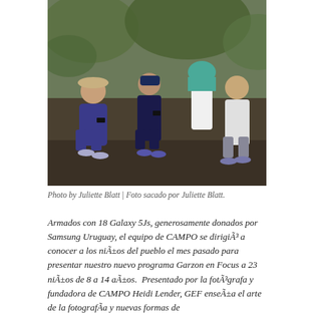[Figure (photo): Group of children sitting on the ground outdoors looking at smartphones, surrounded by green plants and grass.]
Photo by Juliette Blatt | Foto sacado por Juliette Blatt.
Armados con 18 Galaxy 5Js, generosamente donados por Samsung Uruguay, el equipo de CAMPO se dirigió a conocer a los niños del pueblo el mes pasado para presentar nuestro nuevo programa Garzon en Focus a 23 niños de 8 a 14 años. Presentado por la fotógrafa y fundadora de CAMPO Heidi Lender, GEF enseña el arte de la fotografía y nuevas formas de